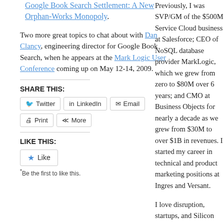Google Book Search Settlement: A New Orphan-Works Monopoly.
Two more great topics to chat about with Dan Clancy, engineering director for Google Book Search, when he appears at the Mark Logic User Conference coming up on May 12-14, 2009.
SHARE THIS:
Twitter LinkedIn Email Print More
LIKE THIS:
Like
*Be the first to like this.
Previously, I was SVP/GM of the $500M Service Cloud business at Salesforce; CEO of NoSQL database provider MarkLogic, which we grew from zero to $80M over 6 years; and CMO at Business Objects for nearly a decade as we grew from $30M to over $1B in revenues. I started my career in technical and product marketing positions at Ingres and Versant.
I love disruption, startups, and Silicon Valley and have had the pleasure of working in varied capacities with companies including